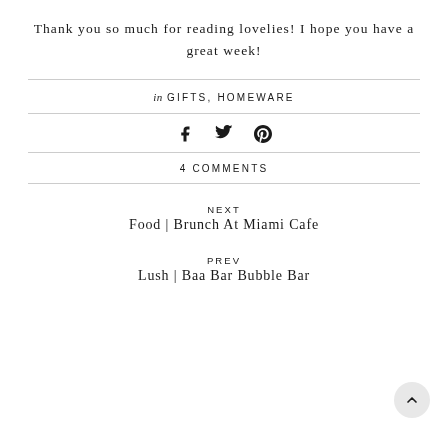Thank you so much for reading lovelies! I hope you have a great week!
in GIFTS, HOMEWARE
[Figure (other): Social share icons: Facebook, Twitter, Pinterest]
4 COMMENTS
NEXT
Food | Brunch At Miami Cafe
PREV
Lush | Baa Bar Bubble Bar